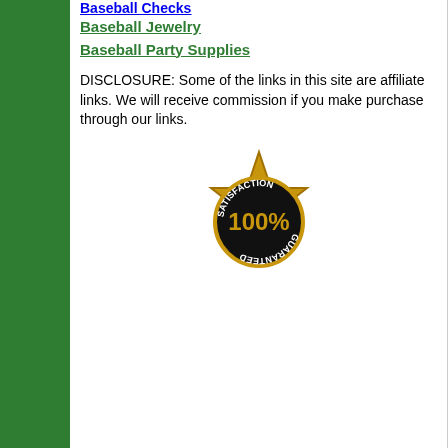Baseball Checks
Baseball Jewelry
Baseball Party Supplies
DISCLOSURE: Some of the links in this site are affiliate links. We will receive commission if you make purchase through our links.
[Figure (illustration): 100% Satisfaction Guaranteed gold seal badge]
New Orleans Pelicans: Basketball - Original Round Rotating Lighted Wall Sign 21"W x 5"H by Fathead | Metal
New Orleans Pelicans: Basketball - Original Round Rotating Lighted Wall Sign 21"W x 5"H by Fathead | Metal. The Original New Orleans Pelicans Rotating Lighted Wall Sign both lights up and spins while allowing you to
$219.
More Info...
Buy N...